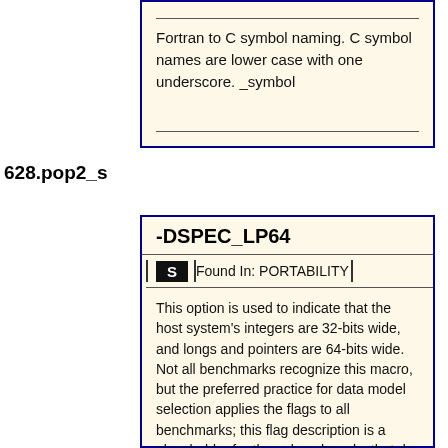Fortran to C symbol naming. C symbol names are lower case with one underscore. _symbol
628.pop2_s
-DSPEC_LP64
Found In: PORTABILITY
This option is used to indicate that the host system's integers are 32-bits wide, and longs and pointers are 64-bits wide. Not all benchmarks recognize this macro, but the preferred practice for data model selection applies the flags to all benchmarks; this flag description is a placeholder for those benchmarks that do not recognize this macro.